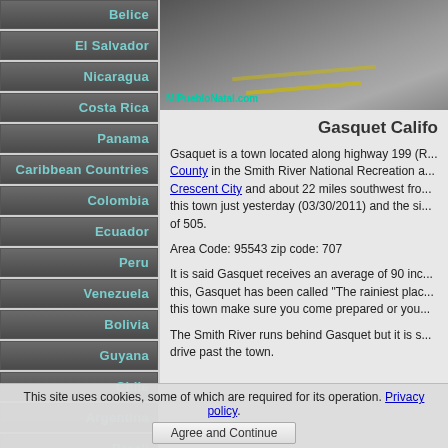Belice
El Salvador
Nicaragua
Costa Rica
Panama
Caribbean Countries
Colombia
Ecuador
Peru
Venezuela
Bolivia
Guyana
Chile
Argentina
Brazil
[Figure (photo): Road photo with MiPuebloNatal.com watermark]
Gasquet Califo
Gsaquet is a town located along highway 199 (R... County in the Smith River National Recreation a... Crescent City and about 22 miles southwest fro... this town just yesterday (03/30/2011) and the si... of 505.
Area Code: 95543 zip code: 707
It is said Gasquet receives an average of 90 inc... this, Gasquet has been called "The rainiest plac... this town make sure you come prepared or you...
The Smith River runs behind Gasquet but it is s... drive past the town.
This site uses cookies, some of which are required for its operation. Privacy policy